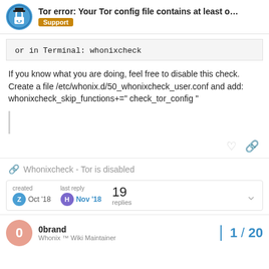Tor error: Your Tor config file contains at least o... | Support
or in Terminal: whonixcheck
If you know what you are doing, feel free to disable this check. Create a file /etc/whonix.d/50_whonixcheck_user.conf and add: whonixcheck_skip_functions+=" check_tor_config "
🔗 Whonixcheck - Tor is disabled
created Oct '18 | last reply Nov '18 | 19 replies
0brand
Whonix ™ Wiki Maintainer
1 / 20